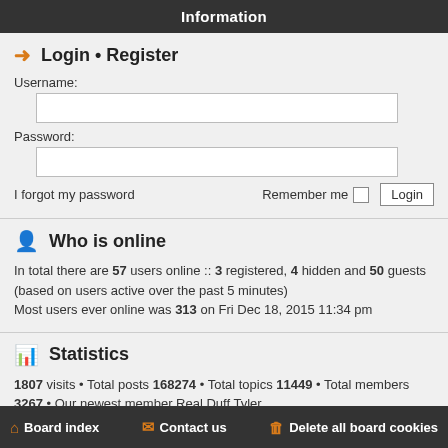Information
Login • Register
Username:
Password:
I forgot my password    Remember me   Login
Who is online
In total there are 57 users online :: 3 registered, 4 hidden and 50 guests (based on users active over the past 5 minutes)
Most users ever online was 313 on Fri Dec 18, 2015 11:34 pm
Statistics
1807 visits • Total posts 168274 • Total topics 11449 • Total members 3267 • Our newest member Real Duff Tyler
Board index   Contact us   Delete all board cookies